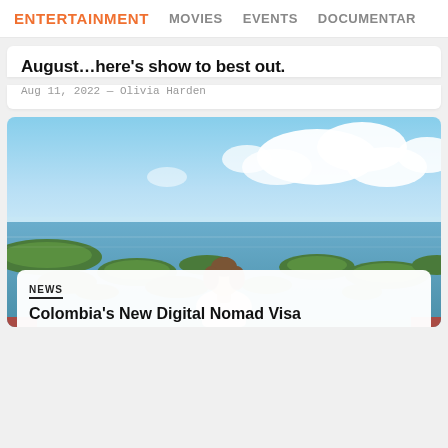ENTERTAINMENT  MOVIES  EVENTS  DOCUMENTAR
August…here's show to best out.
Aug 11, 2022 — Olivia Harden
[Figure (photo): Woman with hair in a bun seen from behind, looking out over a scenic archipelago landscape with blue water, green islands, and clouds in the sky]
NEWS
Colombia's New Digital Nomad Visa